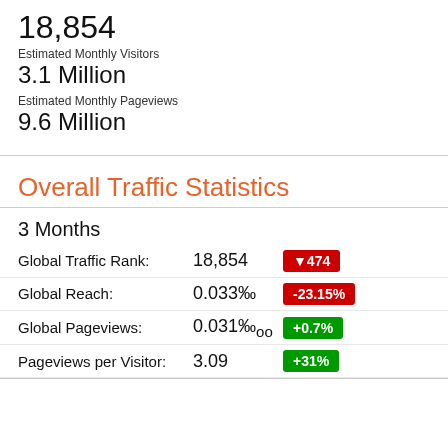18,854
Estimated Monthly Visitors
3.1 Million
Estimated Monthly Pageviews
9.6 Million
Overall Traffic Statistics
3 Months
| Metric | Value | Change |
| --- | --- | --- |
| Global Traffic Rank: | 18,854 | ▼474 |
| Global Reach: | 0.033‰ | -23.15% |
| Global Pageviews: | 0.031‰oo | +0.7% |
| Pageviews per Visitor: | 3.09 | +31% |